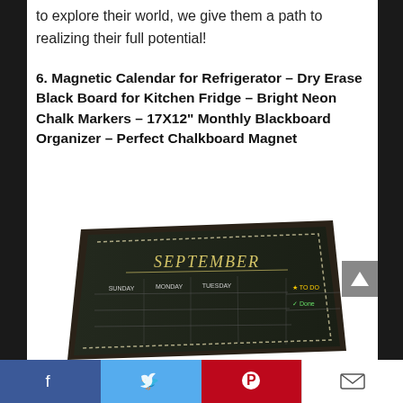to explore their world, we give them a path to realizing their full potential!
6. Magnetic Calendar for Refrigerator – Dry Erase Black Board for Kitchen Fridge – Bright Neon Chalk Markers – 17X12" Monthly Blackboard Organizer – Perfect Chalkboard Magnet
[Figure (photo): Product photo of a magnetic chalkboard calendar showing September with days of the week listed and a to-do section, displayed at an angle]
Facebook | Twitter | Pinterest | Email